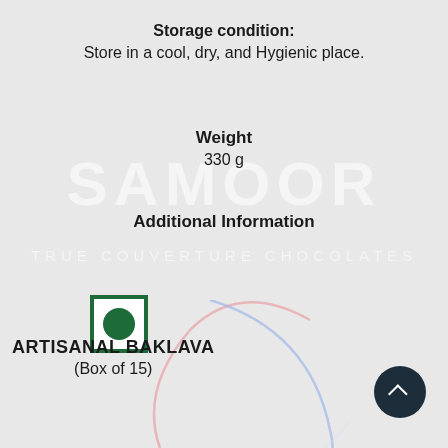Storage condition:
Store in a cool, dry, and Hygienic place.
Weight
330 g
Additional Information
[Figure (illustration): Indian vegetarian food symbol: dark green square border with a green filled circle in the center on a light grey background]
[Figure (illustration): Decorative overlapping arcs in light pink and light blue, partially visible in lower portion of page]
ARTISANAL BAKLAVA
(Box of 15)